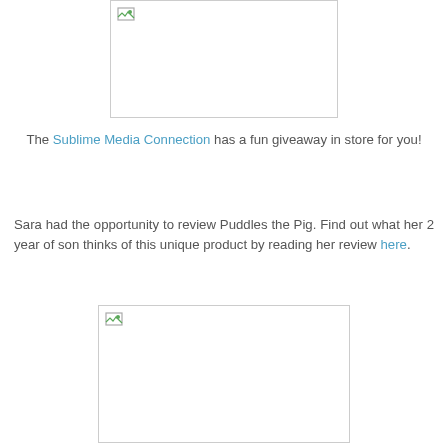[Figure (photo): Placeholder image box at top (broken image icon visible)]
The Sublime Media Connection has a fun giveaway in store for you!
Sara had the opportunity to review Puddles the Pig. Find out what her 2 year of son thinks of this unique product by reading her review here.
[Figure (photo): Placeholder image box at bottom (broken image icon visible)]